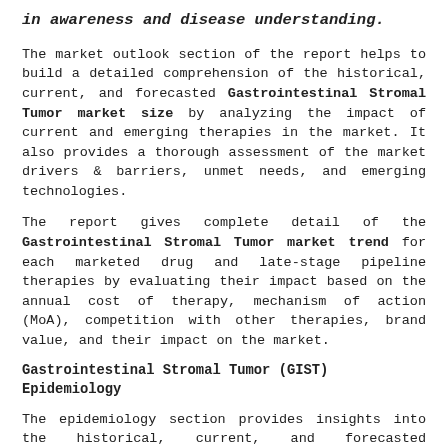in awareness and disease understanding.
The market outlook section of the report helps to build a detailed comprehension of the historical, current, and forecasted Gastrointestinal Stromal Tumor market size by analyzing the impact of current and emerging therapies in the market. It also provides a thorough assessment of the market drivers & barriers, unmet needs, and emerging technologies.
The report gives complete detail of the Gastrointestinal Stromal Tumor market trend for each marketed drug and late-stage pipeline therapies by evaluating their impact based on the annual cost of therapy, mechanism of action (MoA), competition with other therapies, brand value, and their impact on the market.
Gastrointestinal Stromal Tumor (GIST) Epidemiology
The epidemiology section provides insights into the historical, current, and forecasted epidemiology trends in the...